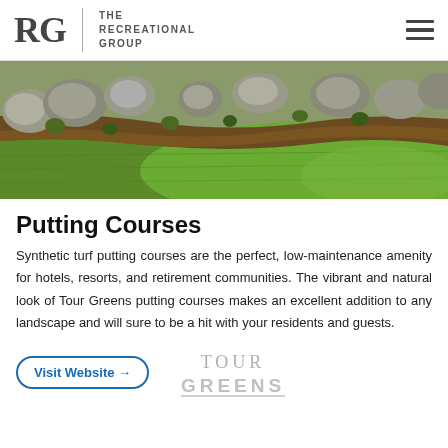RG | THE RECREATIONAL GROUP
[Figure (photo): Outdoor putting green with rocks, mulch landscaping border, and bright green synthetic turf]
Putting Courses
Synthetic turf putting courses are the perfect, low-maintenance amenity for hotels, resorts, and retirement communities. The vibrant and natural look of Tour Greens putting courses makes an excellent addition to any landscape and will sure to be a hit with your residents and guests.
Visit Website →
[Figure (logo): Tour Greens logo in light gray text]